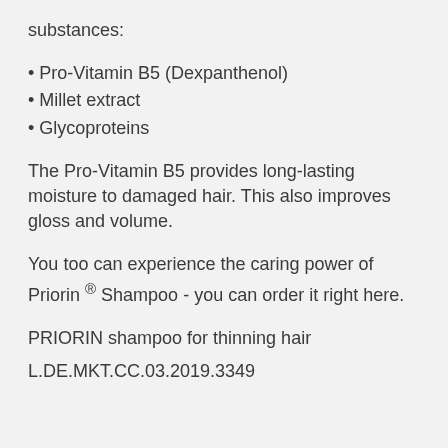substances:
Pro-Vitamin B5 (Dexpanthenol)
Millet extract
Glycoproteins
The Pro-Vitamin B5 provides long-lasting moisture to damaged hair. This also improves gloss and volume.
You too can experience the caring power of Priorin ® Shampoo - you can order it right here.
PRIORIN shampoo for thinning hair
L.DE.MKT.CC.03.2019.3349